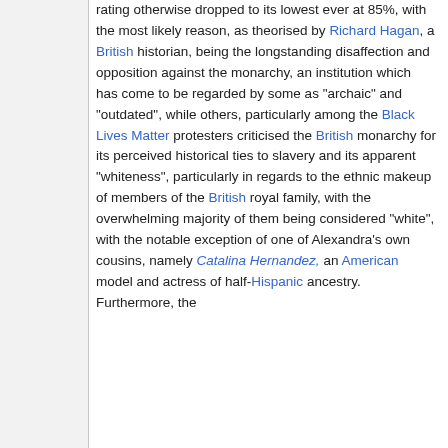rating otherwise dropped to its lowest ever at 85%, with the most likely reason, as theorised by Richard Hagan, a British historian, being the longstanding disaffection and opposition against the monarchy, an institution which has come to be regarded by some as "archaic" and "outdated", while others, particularly among the Black Lives Matter protesters criticised the British monarchy for its perceived historical ties to slavery and its apparent "whiteness", particularly in regards to the ethnic makeup of members of the British royal family, with the overwhelming majority of them being considered "white", with the notable exception of one of Alexandra's own cousins, namely Catalina Hernandez, an American model and actress of half-Hispanic ancestry. Furthermore, the